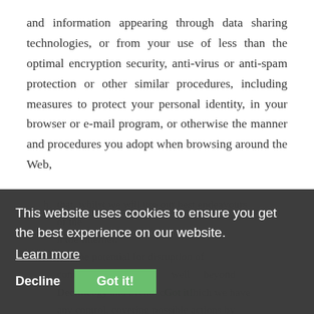and information appearing through data sharing technologies, or from your use of less than the optimal encryption security, anti-virus or anti-spam protection or other similar procedures, including measures to protect your personal identity, in your browser or e-mail program, or otherwise the manner and procedures you adopt when browsing around the Web,
h. that, whilst we will use our best endeavours … of the … n the Internet, … that the potential for disruption of connectivity extends well beyond … ogy and events c… hich we have any control, covering possible actions by many varied organisations who contribute
This website uses cookies to ensure you get the best experience on our website.
Learn more
Decline
Got it!